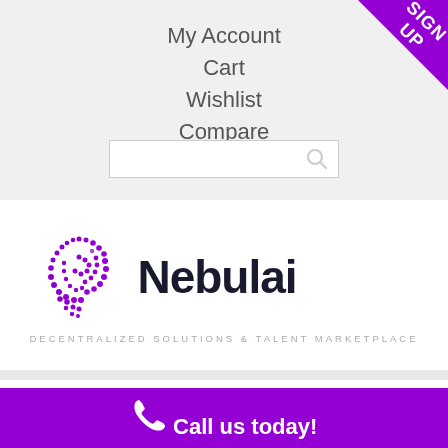My Account
Cart
Wishlist
Compare
Fulfillment
[Figure (illustration): Nebulai logo with purple IOTA-style dot swirl and bold black Nebulai text, with tagline DECENTRALIZED SOLUTIONS & TALENT MARKETPLACE]
Call us today!